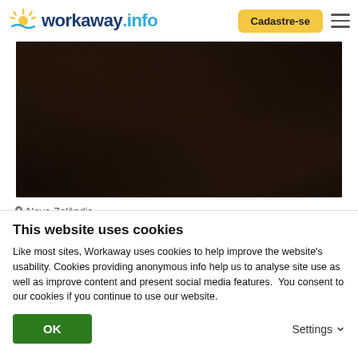workaway.info — Cadastre-se
[Figure (photo): Dark landscape photo showing dense vegetation and hills, very dark tones with dark brown/green foliage]
Nova Zelândia
Learn about permaculture and enjoy an incredible vista of the Kapiti coast, New Zealand
★★★★★ (9)
This website uses cookies
Like most sites, Workaway uses cookies to help improve the website's usability. Cookies providing anonymous info help us to analyse site use as well as improve content and present social media features.  You consent to our cookies if you continue to use our website.
OK    Settings